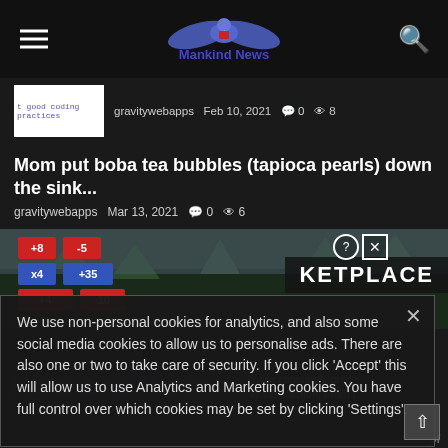Mankind News — navigation header with hamburger menu and search icon
t good coding practices  gravitywebapps  Feb 10, 2021  0  8
Mom put boba tea bubbles (tapioca pearls) down the sink...
gravitywebapps  Mar 13, 2021  0  6
[Figure (screenshot): Advertisement with game-score widget overlay showing colored number bars (+8, -5, x4, +35) on a background of trees; help and close buttons top right; MARKETPLACE text visible.]
We use non-personal cookies for analytics, and also some social media cookies to allow us to personalise ads. There are also one or two to take care of security. If you click 'Accept' this will allow us to use Analytics and Marketing cookies. You have full control over which cookies may be set by clicking 'Settings'.